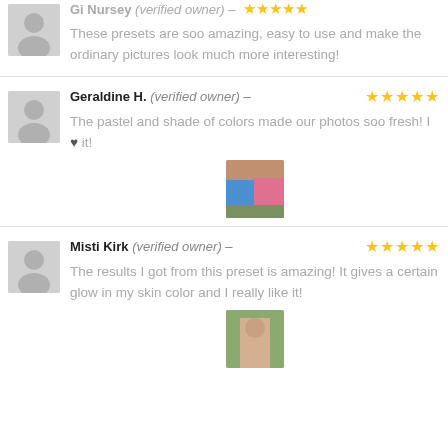These presets are soo amazing, easy to use and make the ordinary pictures look much more interesting!
Geraldine H. (verified owner) – ★★★★★
The pastel and shade of colors made our photos soo fresh! I ♥ it!
[Figure (photo): Photo of two women standing together outdoors]
Misti Kirk (verified owner) – ★★★★★
The results I got from this preset is amazing! It gives a certain glow in my skin color and I really like it!
[Figure (photo): Photo of a woman outdoors]